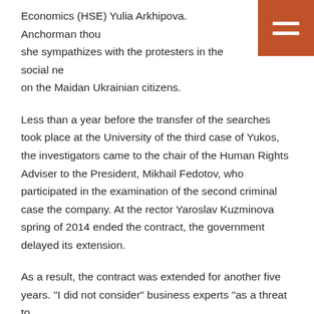Economics (HSE) Yulia Arkhipova. Anchorman thought she sympathizes with the protesters in the social networks on the Maidan Ukrainian citizens.
Less than a year before the transfer of the searches took place at the University of the third case of Yukos, the investigators came to the chair of the Human Rights Adviser to the President, Mikhail Fedotov, who participated in the examination of the second criminal case the company. At the rector Yaroslav Kuzminova spring of 2014 ended the contract, the government delayed its extension.
As a result, the contract was extended for another five years. "I did not consider" business experts "as a threat to